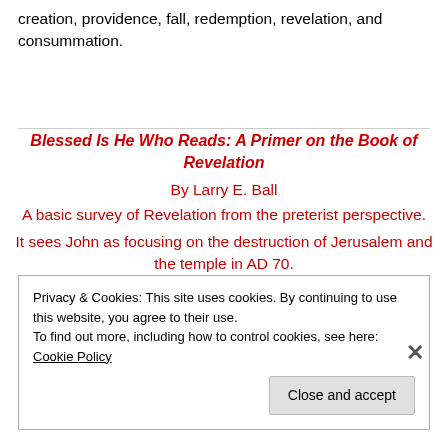creation, providence, fall, redemption, revelation, and consummation.
Blessed Is He Who Reads: A Primer on the Book of Revelation
By Larry E. Ball
A basic survey of Revelation from the preterist perspective.
It sees John as focusing on the destruction of Jerusalem and the temple in AD 70.
Privacy & Cookies: This site uses cookies. By continuing to use this website, you agree to their use.
To find out more, including how to control cookies, see here: Cookie Policy
Close and accept